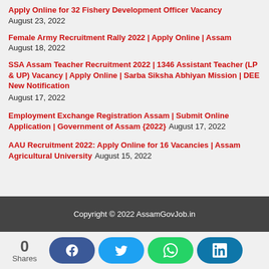Apply Online for 32 Fishery Development Officer Vacancy August 23, 2022
Female Army Recruitment Rally 2022 | Apply Online | Assam August 18, 2022
SSA Assam Teacher Recruitment 2022 | 1346 Assistant Teacher (LP & UP) Vacancy | Apply Online | Sarba Siksha Abhiyan Mission | DEE New Notification August 17, 2022
Employment Exchange Registration Assam | Submit Online Application | Government of Assam {2022} August 17, 2022
AAU Recruitment 2022: Apply Online for 16 Vacancies | Assam Agricultural University August 15, 2022
Copyright © 2022 AssamGovJob.in